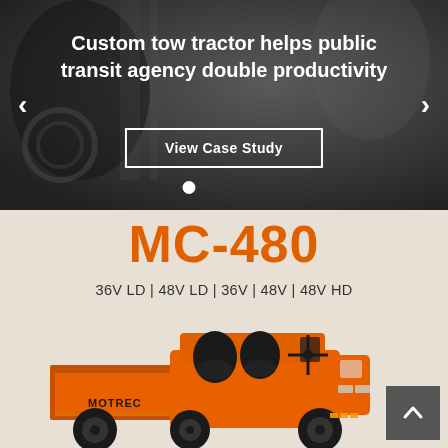[Figure (photo): Dark gray blurred background image of industrial/transit setting with a carousel overlay showing headline text, View Case Study button, and navigation arrows]
Custom tow tractor helps public transit agency double productivity
View Case Study
MC-480
36V LD | 48V LD | 36V | 48V | 48V HD
[Figure (photo): Orange Motrec MC-480 electric utility vehicle with black seats and steering wheel, viewed from rear-left angle, on light beige background]